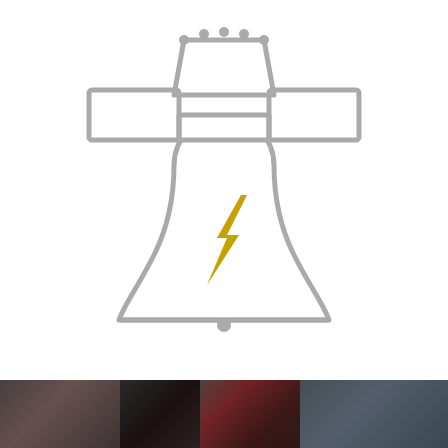[Figure (logo): Liberty Bell icon outline in gray with a yellow lightning bolt overlaid on the center of the bell body]
[Figure (photo): Partial photograph visible at the bottom of the page showing people in business attire]